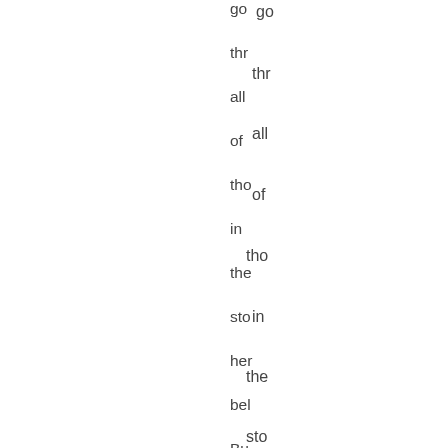go
thr
all
of
tho
in
the
sto
her
bel
Bu
I
am
co
tha
No
is
Nt